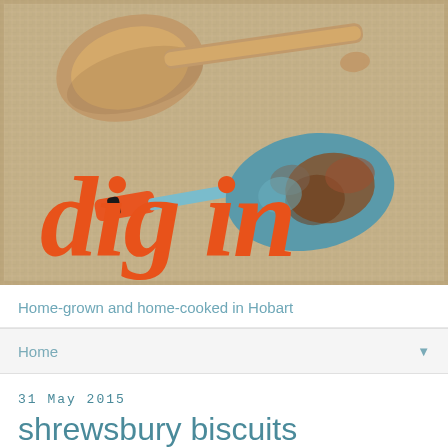[Figure (photo): Blog header image showing a burlap/hessian fabric background with a wooden spoon in the upper left, an orange-handled teal/rusty garden trowel in the lower center, and large orange italic script text reading 'dig in']
Home-grown and home-cooked in Hobart
Home
31 May 2015
shrewsbury biscuits